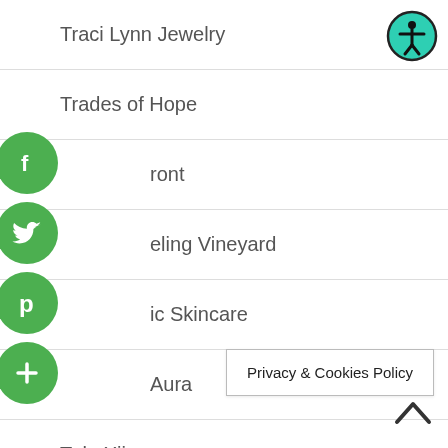Traci Lynn Jewelry
Trades of Hope
Tremont
Traveling Vineyard
Tru Beauty Organic Skincare
True Aura
Tula Xii
Tupperware
Ultimate Bundles
Privacy & Cookies Policy